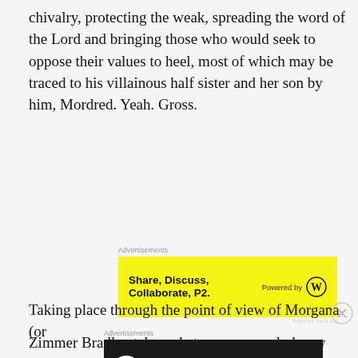chivalry, protecting the weak, spreading the word of the Lord and bringing those who would seek to oppose their values to heel, most of which may be traced to his villainous half sister and her son by him, Mordred. Yeah. Gross.
[Figure (screenshot): Yellow advertisement banner reading 'Share, Discuss, Collaborate, P2.' with 'Powered by' WordPress logo on the right. Labeled 'Advertisements' above and 'REPORT THIS AD' below.]
Zimmer Bradley takes what we commonly know and skews it, not by necessarily changing the outcome, but rather the people who which enact these actions.
Taking place through the point of view of Morgana (or
[Figure (screenshot): Dark advertisement banner reading 'Teach freely — Make money selling online courses.' with a white icon on the left. Labeled 'Advertisements' above and 'REPORT THIS AD' below.]